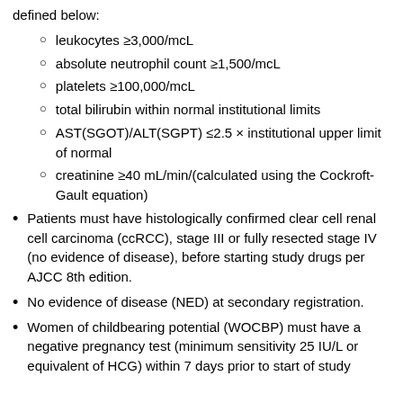defined below:
leukocytes ≥3,000/mcL
absolute neutrophil count ≥1,500/mcL
platelets ≥100,000/mcL
total bilirubin within normal institutional limits
AST(SGOT)/ALT(SGPT) ≤2.5 × institutional upper limit of normal
creatinine ≥40 mL/min/(calculated using the Cockroft-Gault equation)
Patients must have histologically confirmed clear cell renal cell carcinoma (ccRCC), stage III or fully resected stage IV (no evidence of disease), before starting study drugs per AJCC 8th edition.
No evidence of disease (NED) at secondary registration.
Women of childbearing potential (WOCBP) must have a negative pregnancy test (minimum sensitivity 25 IU/L or equivalent of HCG) within 7 days prior to start of study